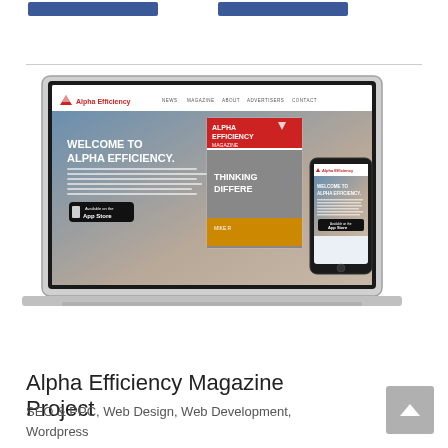[Figure (screenshot): Screenshot of Alpha Efficiency website displayed on a MacBook laptop and a smartphone. The website shows navigation links: NEWS, MAGAZINE, ABOUT, ADVERTISERS, CONTACT. The hero section reads 'WELCOME TO ALPHA EFFICIENCY.' with a magazine cover showing 'ALPHA EFFICIENCY MAGAZINE' and 'THINKING DIFFERENT' with 'MIKE R'. There is an 'Available on the App Store' button. The phone on the right also shows the same website and app store button.]
Alpha Efficiency Magazine Project
SEO & PPC, Web Design, Web Development, Wordpress